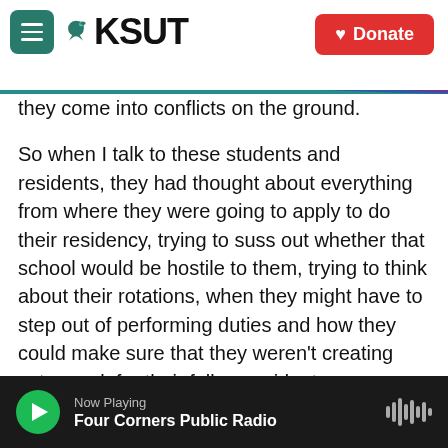KSUT — Donate
they come into conflicts on the ground.
So when I talk to these students and residents, they had thought about everything from where they were going to apply to do their residency, trying to suss out whether that school would be hostile to them, trying to think about their rotations, when they might have to step out of performing duties and how they could make sure that they weren't creating extra work for their fellow residents...
PFEIFFER: Interesting.
GREEN:   Trying to think through how they would
Now Playing — Four Corners Public Radio